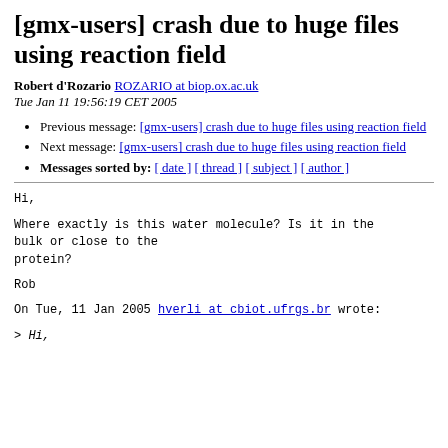[gmx-users] crash due to huge files using reaction field
Robert d'Rozario ROZARIO at biop.ox.ac.uk
Tue Jan 11 19:56:19 CET 2005
Previous message: [gmx-users] crash due to huge files using reaction field
Next message: [gmx-users] crash due to huge files using reaction field
Messages sorted by: [ date ] [ thread ] [ subject ] [ author ]
Hi,

Where exactly is this water molecule?  Is it in the bulk or close to the
protein?

Rob

On Tue, 11 Jan 2005 hverli at cbiot.ufrgs.br wrote:

> Hi,